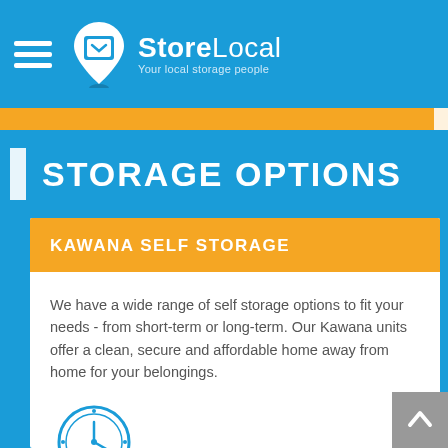StoreLocal — Your local storage people
STORAGE OPTIONS
KAWANA SELF STORAGE
We have a wide range of self storage options to fit your needs - from short-term or long-term. Our Kawana units offer a clean, secure and affordable home away from home for your belongings.
[Figure (illustration): Clock/time icon circle for 24 Hour Access]
24 Hour Access